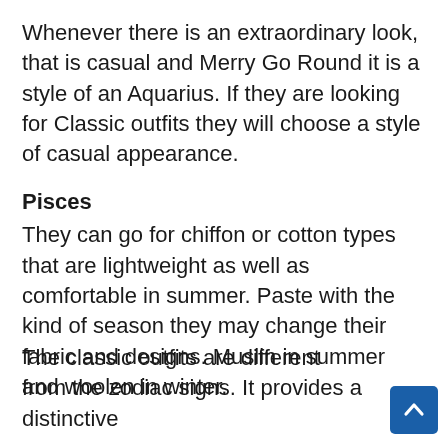Whenever there is an extraordinary look, that is casual and Merry Go Round it is a style of an Aquarius. If they are looking for Classic outfits they will choose a style of casual appearance.
Pisces
They can go for chiffon or cotton types that are lightweight as well as comfortable in summer. Paste with the kind of season they may change their fabric and designs. Muslin in summer and woolen in winter.
The classic outfits are different from the zodiac signs. It provides a distinctive